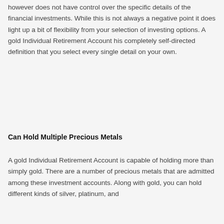however does not have control over the specific details of the financial investments. While this is not always a negative point it does light up a bit of flexibility from your selection of investing options. A gold Individual Retirement Account his completely self-directed definition that you select every single detail on your own.
Can Hold Multiple Precious Metals
A gold Individual Retirement Account is capable of holding more than simply gold. There are a number of precious metals that are admitted among these investment accounts. Along with gold, you can hold different kinds of silver, platinum, and